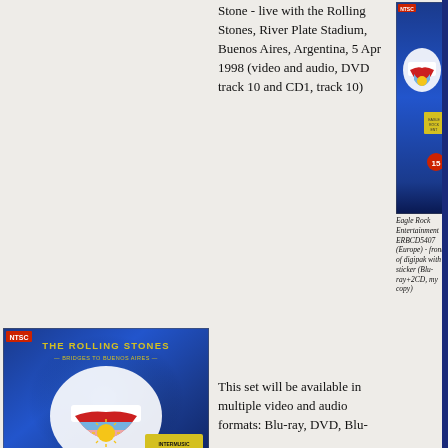Stone - live with the Rolling Stones, River Plate Stadium, Buenos Aires, Argentina, 5 Apr 1998 (video and audio, DVD track 10 and CD1, track 10)
[Figure (photo): Rolling Stones 'Bridges to Buenos Aires' digipak cover - blue background with tongue logo featuring Argentina flag colors, yellow sticker label - Eagle Rock Entertainment Europe edition ERBCD5407]
Eagle Rock Entertainment ERBCD5407 (Europe) - front of digipak with sticker (Blu-ray+2CD, my copy)
This set will be available in multiple video and audio formats: Blu-ray, DVD, Blu-
[Figure (photo): Rolling Stones Bridges to Buenos Aires digipak cover - USA edition EV021122, blue background with tongue logo, yellow sticker at bottom right]
Eagle Rock Entertainment EV021122 (USA) - front of digipak with sticker, scan by Jack from Canada (DVD+2CD)
[Figure (photo): Partial view of another Rolling Stones release - right edge of a case/sleeve visible]
(US picture w